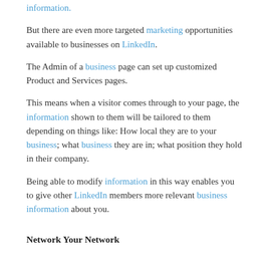information.
But there are even more targeted marketing opportunities available to businesses on LinkedIn.
The Admin of a business page can set up customized Product and Services pages.
This means when a visitor comes through to your page, the information shown to them will be tailored to them depending on things like: How local they are to your business; what business they are in; what position they hold in their company.
Being able to modify information in this way enables you to give other LinkedIn members more relevant business information about you.
Network Your Network